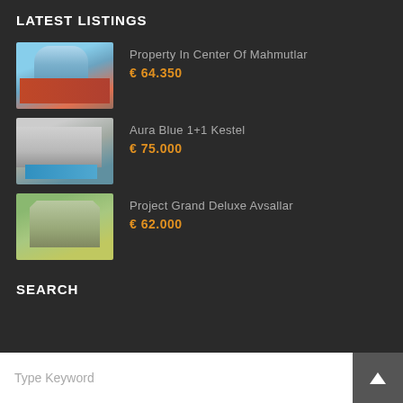LATEST LISTINGS
Property In Center Of Mahmutlar
€ 64.350
Aura Blue 1+1 Kestel
€ 75.000
Project Grand Deluxe Avsallar
€ 62.000
SEARCH
Type Keyword